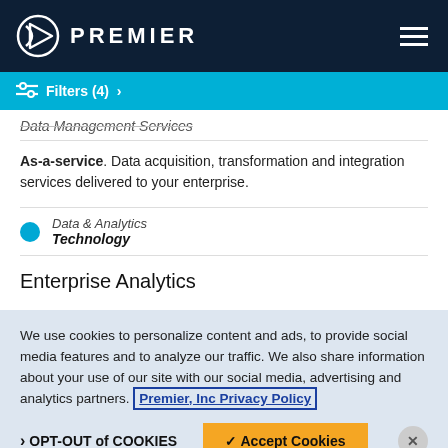PREMIER
Filters (4) >
Data Management Services
As-a-service. Data acquisition, transformation and integration services delivered to your enterprise.
Data & Analytics
Technology
Enterprise Analytics
We use cookies to personalize content and ads, to provide social media features and to analyze our traffic. We also share information about your use of our site with our social media, advertising and analytics partners. Premier, Inc Privacy Policy
OPT-OUT of COOKIES
Accept Cookies